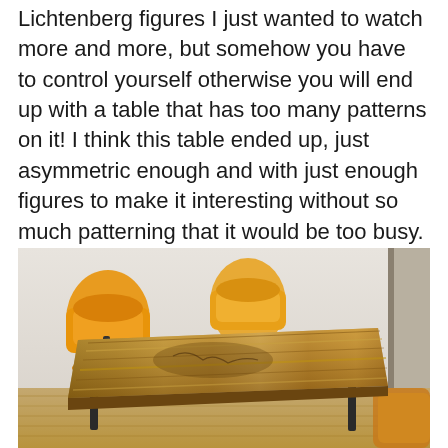Lichtenberg figures I just wanted to watch more and more, but somehow you have to control yourself otherwise you will end up with a table that has too many patterns on it! I think this table ended up, just asymmetric enough and with just enough figures to make it interesting without so much patterning that it would be too busy. If it were in my budget I would have loved to start with a large piece of wood, one slab rather than a butcher block top. Maybe next time.
[Figure (photo): A wooden dining table with a butcher block top and dark metal frame legs, with two yellow/orange chairs visible behind it, photographed from a slight elevated angle in a room with white walls and light wood flooring.]